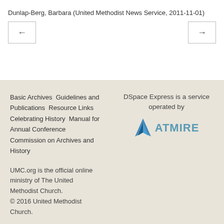Dunlap-Berg, Barbara (United Methodist News Service, 2011-11-01)
[Figure (other): Navigation buttons: left arrow button and right arrow button]
Basic Archives  Guidelines and Publications  Resource Links  Celebrating History  Manual for Annual Conference Commission on Archives and History
DSpace Express is a service operated by ATMIRE
UMC.org is the official online ministry of The United Methodist Church.
© 2016 United Methodist Church.